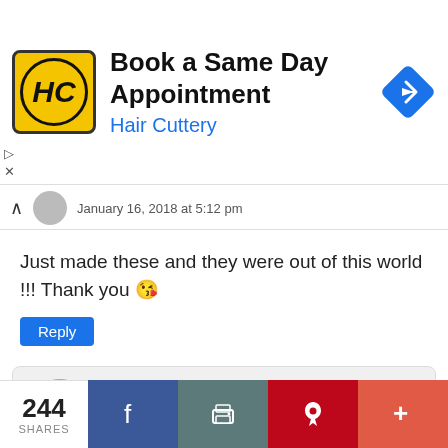[Figure (other): Hair Cuttery advertisement banner with yellow HC logo, 'Book a Same Day Appointment' heading, 'Hair Cuttery' subtitle in blue, and blue navigation arrow icon on the right]
January 16, 2018 at 5:12 pm
Just made these and they were out of this world !!! Thank you 😘
Reply
My Keto Recipes says
January 21, 2018 at 11:41 am
You're welcome 😊
244 SHARES